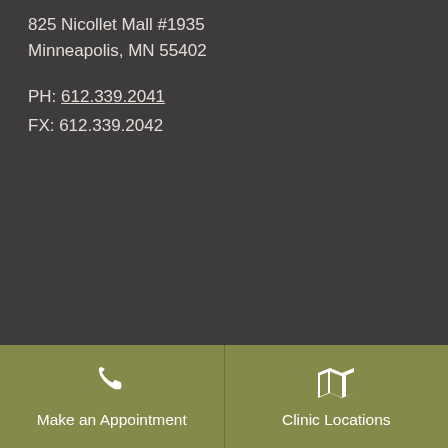825 Nicollet Mall #1935
Minneapolis, MN 55402
PH: 612.339.2041
FX: 612.339.2042
[Figure (infographic): Phone icon above 'Make an Appointment' button on olive green background]
[Figure (infographic): Map icon above 'Clinic Locations' button on olive green background]